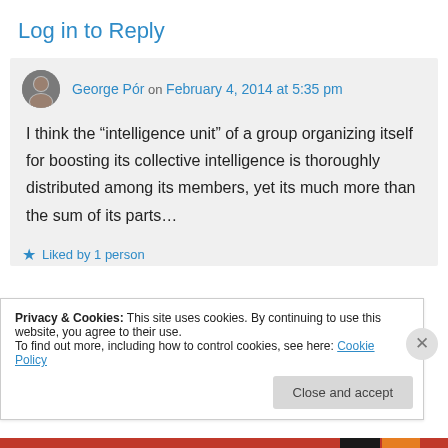Log in to Reply
George Pór on February 4, 2014 at 5:35 pm
I think the “intelligence unit” of a group organizing itself for boosting its collective intelligence is thoroughly distributed among its members, yet its much more than the sum of its parts…
★ Liked by 1 person
Privacy & Cookies: This site uses cookies. By continuing to use this website, you agree to their use.
To find out more, including how to control cookies, see here: Cookie Policy